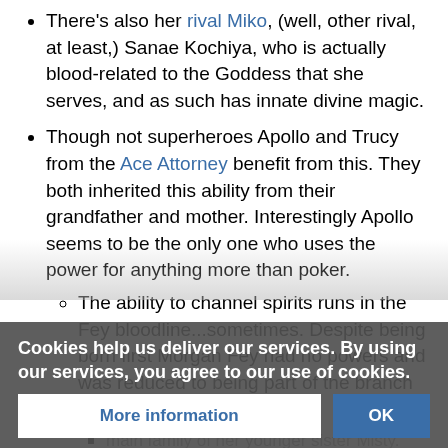There's also her rival Miko, (well, other rival, at least,) Sanae Kochiya, who is actually blood-related to the Goddess that she serves, and as such has innate divine magic.
Though not superheroes Apollo and Trucy from the Ace Attorney benefit from this. They both inherited this ability from their grandfather and mother. Interestingly Apollo seems to be the only one who uses the power for anything more than poker.
The ability to channel spirits runs in the Fey bloodline...sometimes. Despite being born first Morgan Fey had no powers and was reduced to being part of the branch family, in service to the main family of her younger sister Misty. This [obscured] stress.
It m[obscured] as her dau[obscured]lling powers.
Cookies help us deliver our services. By using our services, you agree to our use of cookies.